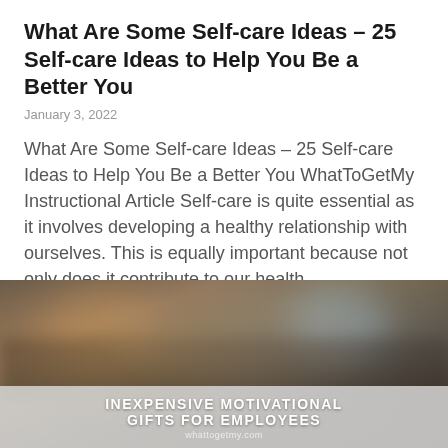What Are Some Self-care Ideas – 25 Self-care Ideas to Help You Be a Better You
January 3, 2022
What Are Some Self-care Ideas – 25 Self-care Ideas to Help You Be a Better You WhatToGetMy Instructional Article Self-care is quite essential as it involves developing a healthy relationship with ourselves. This is equally important because not only does it contribute to our health,
Read More »
[Figure (photo): Two people working together at a table, with overlay text reading 'INEXPENSIVE MOTIVATIONAL GIFTS FOR EMPLOYEES']